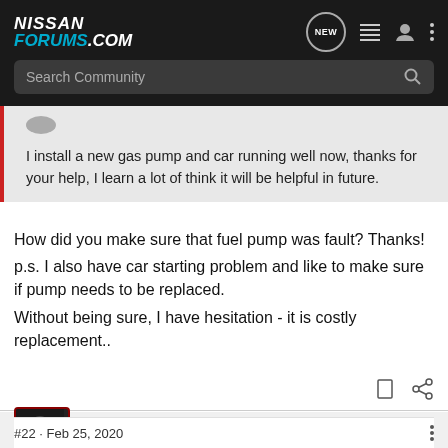NISSAN FORUMS.COM — Search Community
I install a new gas pump and car running well now, thanks for your help, I learn a lot of think it will be helpful in future.
How did you make sure that fuel pump was fault? Thanks!
p.s. I also have car starting problem and like to make sure if pump needs to be replaced.
Without being sure, I have hesitation - it is costly replacement..
rogoman · Admin and Sup Mod keeping the peace
Joined Dec 15, 2004 · 8,403 Posts
#22 · Feb 25, 2020